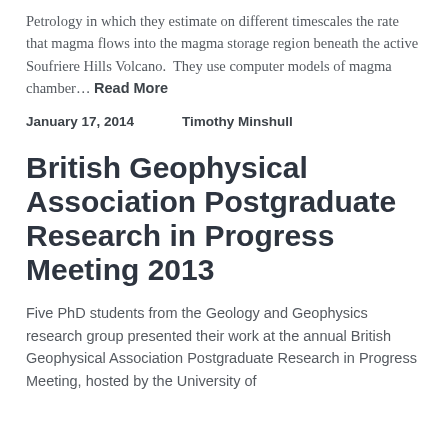Petrology in which they estimate on different timescales the rate that magma flows into the magma storage region beneath the active Soufriere Hills Volcano.  They use computer models of magma chamber… Read More
January 17, 2014    Timothy Minshull
British Geophysical Association Postgraduate Research in Progress Meeting 2013
Five PhD students from the Geology and Geophysics research group presented their work at the annual British Geophysical Association Postgraduate Research in Progress Meeting, hosted by the University of